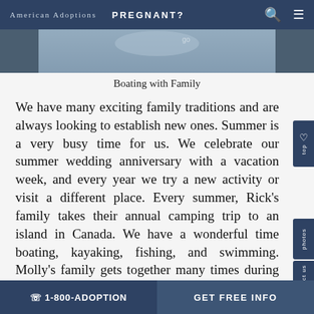American Adoptions   PREGNANT?
[Figure (photo): Partial image of people boating with family, cropped at top]
Boating with Family
We have many exciting family traditions and are always looking to establish new ones. Summer is a very busy time for us. We celebrate our summer wedding anniversary with a vacation week, and every year we try a new activity or visit a different place. Every summer, Rick's family takes their annual camping trip to an island in Canada. We have a wonderful time boating, kayaking, fishing, and swimming. Molly's family gets together many times during the summer to golf, fish, and go to the beach and the zoo. Our favorite fall
☎ 1-800-ADOPTION   GET FREE INFO